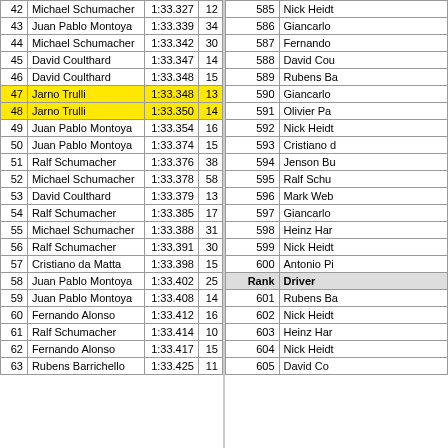| Rank | Driver | Time | Lap |
| --- | --- | --- | --- |
| 42 | Michael Schumacher | 1:33.327 | 12 |
| 43 | Juan Pablo Montoya | 1:33.339 | 34 |
| 44 | Michael Schumacher | 1:33.342 | 30 |
| 45 | David Coulthard | 1:33.347 | 14 |
| 46 | David Coulthard | 1:33.348 | 15 |
| 47 | Jarno Trulli | 1:33.348 | 13 |
| 48 | Jarno Trulli | 1:33.350 | 14 |
| 49 | Juan Pablo Montoya | 1:33.354 | 16 |
| 50 | Juan Pablo Montoya | 1:33.374 | 15 |
| 51 | Ralf Schumacher | 1:33.376 | 38 |
| 52 | Michael Schumacher | 1:33.378 | 58 |
| 53 | David Coulthard | 1:33.379 | 13 |
| 54 | Ralf Schumacher | 1:33.385 | 17 |
| 55 | Michael Schumacher | 1:33.388 | 31 |
| 56 | Ralf Schumacher | 1:33.391 | 30 |
| 57 | Cristiano da Matta | 1:33.398 | 15 |
| 58 | Juan Pablo Montoya | 1:33.402 | 25 |
| 59 | Juan Pablo Montoya | 1:33.408 | 14 |
| 60 | Fernando Alonso | 1:33.412 | 16 |
| 61 | Ralf Schumacher | 1:33.414 | 10 |
| 62 | Fernando Alonso | 1:33.417 | 15 |
| 63 | Rubens Barrichello | 1:33.425 | 11 |
| Rank | Driver |
| --- | --- |
| 585 | Nick Heidt |
| 586 | Giancarlo |
| 587 | Fernando |
| 588 | David Cou |
| 589 | Rubens Ba |
| 590 | Giancarlo |
| 591 | Olivier Pa |
| 592 | Nick Heidt |
| 593 | Cristiano d |
| 594 | Jenson Bu |
| 595 | Ralf Schu |
| 596 | Mark Web |
| 597 | Giancarlo |
| 598 | Heinz Har |
| 599 | Nick Heidt |
| 600 | Antonio Pi |
| Rank | Driver |
| 601 | Rubens Ba |
| 602 | Nick Heidt |
| 603 | Heinz Har |
| 604 | Nick Heidt |
| 605 | David Co |